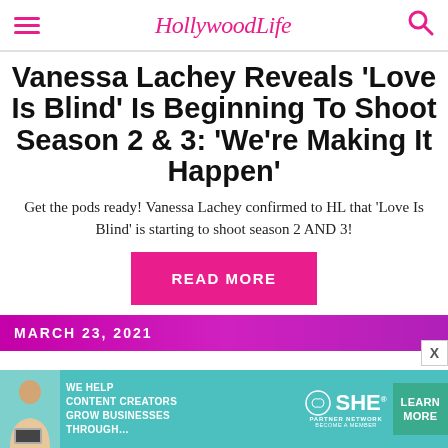HollywoodLife
Vanessa Lachey Reveals ‘Love Is Blind’ Is Beginning To Shoot Season 2 & 3: ‘We’re Making It Happen’
Get the pods ready! Vanessa Lachey confirmed to HL that ‘Love Is Blind’ is starting to shoot season 2 AND 3!
READ MORE
MARCH 23, 2021
[Figure (screenshot): Advertisement banner for SHE Media Partner Network with text: WE HELP CONTENT CREATORS GROW BUSINESSES THROUGH... and LEARN MORE button]